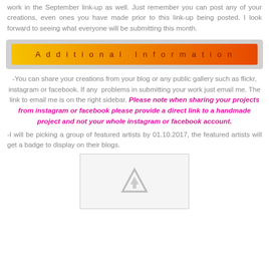work in the September link-up as well. Just remember you can post any of your creations, even ones you have made prior to this link-up being posted. I look forward to seeing what everyone will be submitting this month.
[Figure (other): Orange gradient banner button with text 'Additional Information' in dark red/maroon spaced lettering on a yellow-to-orange gradient background, inside a light grey bordered container.]
-You can share your creations from your blog or any public gallery such as flickr, instagram or facebook. If any problems in submitting your work just email me. The link to email me is on the right sidebar. Please note when sharing your projects from instagram or facebook please provide a direct link to a handmade project and not your whole instagram or facebook account.
-I will be picking a group of featured artists by 01.10.2017, the featured artists will get a badge to display on their blogs.
[Figure (other): A placeholder image box with a grey border and an upload/image triangle arrow icon in the center, indicating a missing or broken image.]